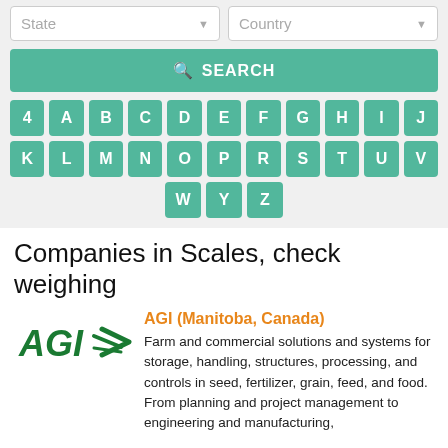[Figure (screenshot): State and Country dropdown filter controls]
[Figure (screenshot): Search button with magnifying glass icon]
[Figure (screenshot): Alphabetical letter navigation grid: 4, A-J, K-V, W, Y, Z]
Companies in Scales, check weighing
[Figure (logo): AGI company logo in green and dark green]
AGI (Manitoba, Canada)
Farm and commercial solutions and systems for storage, handling, structures, processing, and controls in seed, fertilizer, grain, feed, and food. From planning and project management to engineering and manufacturing,